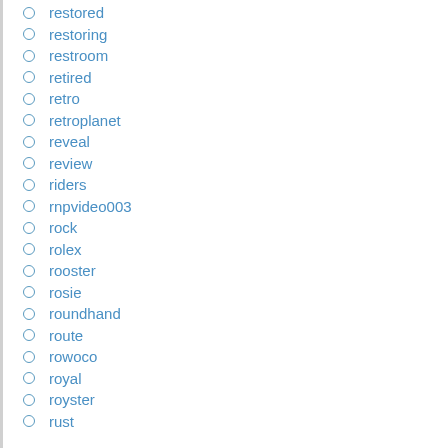restored
restoring
restroom
retired
retro
retroplanet
reveal
review
riders
rnpvideo003
rock
rolex
rooster
rosie
roundhand
route
rowoco
royal
royster
rust